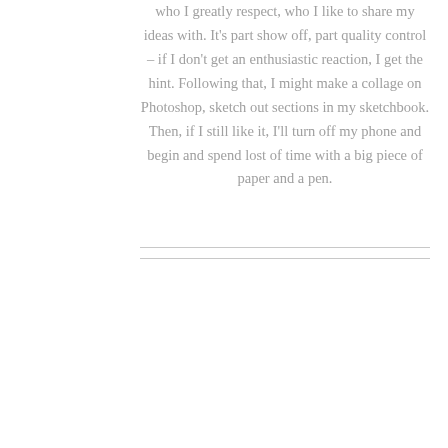who I greatly respect, who I like to share my ideas with. It's part show off, part quality control – if I don't get an enthusiastic reaction, I get the hint. Following that, I might make a collage on Photoshop, sketch out sections in my sketchbook. Then, if I still like it, I'll turn off my phone and begin and spend lost of time with a big piece of paper and a pen.